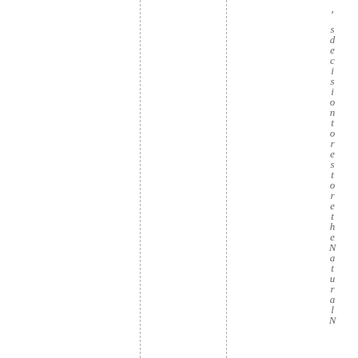, sdecisiontorestorettheNaturalN